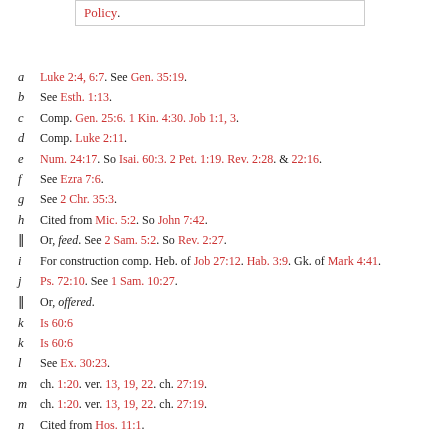Policy.
a  Luke 2:4, 6:7. See Gen. 35:19.
b  See Esth. 1:13.
c  Comp. Gen. 25:6. 1 Kin. 4:30. Job 1:1, 3.
d  Comp. Luke 2:11.
e  Num. 24:17. So Isai. 60:3. 2 Pet. 1:19. Rev. 2:28. & 22:16.
f  See Ezra 7:6.
g  See 2 Chr. 35:3.
h  Cited from Mic. 5:2. So John 7:42.
||  Or, feed. See 2 Sam. 5:2. So Rev. 2:27.
i  For construction comp. Heb. of Job 27:12. Hab. 3:9. Gk. of Mark 4:41.
j  Ps. 72:10. See 1 Sam. 10:27.
||  Or, offered.
k  Is 60:6
k  Is 60:6
l  See Ex. 30:23.
m  ch. 1:20. ver. 13, 19, 22. ch. 27:19.
m  ch. 1:20. ver. 13, 19, 22. ch. 27:19.
n  Cited from Hos. 11:1.